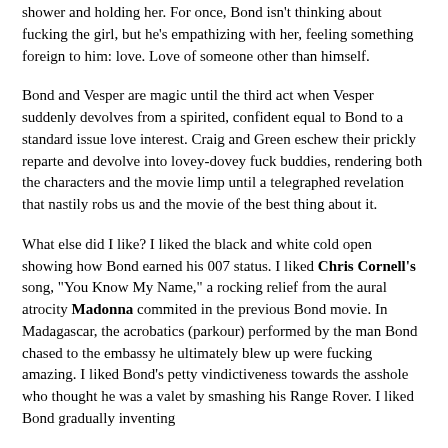shower and holding her. For once, Bond isn't thinking about fucking the girl, but he's empathizing with her, feeling something foreign to him: love. Love of someone other than himself.
Bond and Vesper are magic until the third act when Vesper suddenly devolves from a spirited, confident equal to Bond to a standard issue love interest. Craig and Green eschew their prickly reparte and devolve into lovey-dovey fuck buddies, rendering both the characters and the movie limp until a telegraphed revelation that nastily robs us and the movie of the best thing about it.
What else did I like? I liked the black and white cold open showing how Bond earned his 007 status. I liked Chris Cornell's song, "You Know My Name," a rocking relief from the aural atrocity Madonna commited in the previous Bond movie. In Madagascar, the acrobatics (parkour) performed by the man Bond chased to the embassy he ultimately blew up were fucking amazing. I liked Bond's petty vindictiveness towards the asshole who thought he was a valet by smashing his Range Rover. I liked Bond gradually inventing